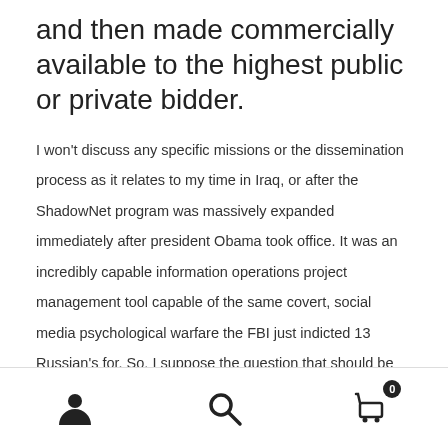and then made commercially available to the highest public or private bidder.
I won't discuss any specific missions or the dissemination process as it relates to my time in Iraq, or after the ShadowNet program was massively expanded immediately after president Obama took office. It was an incredibly capable information operations project management tool capable of the same covert, social media psychological warfare the FBI just indicted 13 Russian's for. So, I suppose the question that should be asked is do we
[user icon] [search icon] [cart icon with 0]